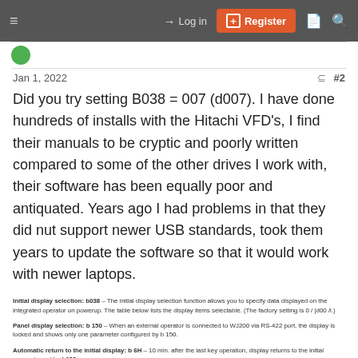Log in  Register
Jan 1, 2022  #2
Did you try setting B038 = 007 (d007). I have done hundreds of installs with the Hitachi VFD's, I find their manuals to be cryptic and poorly written compared to some of the other drives I work with, their software has been equally poor and antiquated. Years ago I had problems in that they did nut support newer USB standards, took them years to update the software so that it would work with newer laptops.
Initial display selection: b038 – The initial display selection function allows you to specify data displayed on the integrated operator on powerup. The table below lists the display items selectable. (The factory setting is 0 / |d00 /l.)
Panel display selection: b 150 – When an external operator is connected to WJ200 via RS-422 port, the display is locked and shows only one parameter configured by b 150.
Automatic return to the initial display: b 6H – 10 min. after the last key operation, display returns to the initial parameter set by b038.
Frequency conversion coefficient setting: b086 – By setting b086, converted output frequency is monitored in d007.  (d007 = d02 i × b086)
Frequency set in monitoring: b 163 – If 0 l is set in b 163, frequency can be changed by up/down key in monitor display d02 l and d027.